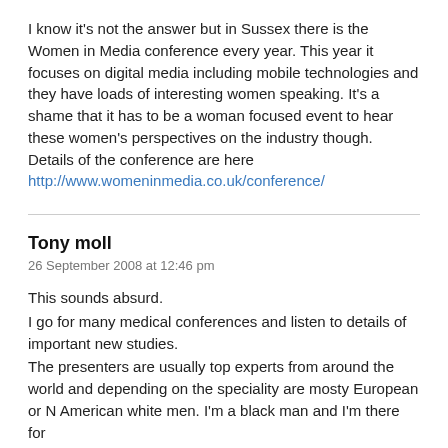I know it's not the answer but in Sussex there is the Women in Media conference every year. This year it focuses on digital media including mobile technologies and they have loads of interesting women speaking. It's a shame that it has to be a woman focused event to hear these women's perspectives on the industry though.
Details of the conference are here
http://www.womeninmedia.co.uk/conference/
Tony moll
26 September 2008 at 12:46 pm
This sounds absurd.
I go for many medical conferences and listen to details of important new studies.
The presenters are usually top experts from around the world and depending on the speciality are mosty European or N American white men. I'm a black man and I'm there for